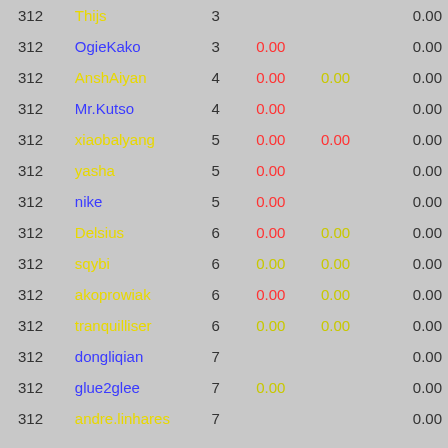| Rank | Name | Num | V1 | V2 | Score |
| --- | --- | --- | --- | --- | --- |
| 312 | Thijs | 3 |  |  | 0.00 |
| 312 | OgieKako | 3 | 0.00 |  | 0.00 |
| 312 | AnshAiyan | 4 | 0.00 | 0.00 | 0.00 |
| 312 | Mr.Kutso | 4 | 0.00 |  | 0.00 |
| 312 | xiaobalyang | 5 | 0.00 | 0.00 | 0.00 |
| 312 | yasha | 5 | 0.00 |  | 0.00 |
| 312 | nike | 5 | 0.00 |  | 0.00 |
| 312 | Delsius | 6 | 0.00 | 0.00 | 0.00 |
| 312 | sqybi | 6 | 0.00 | 0.00 | 0.00 |
| 312 | akoprowiak | 6 | 0.00 | 0.00 | 0.00 |
| 312 | tranquilliser | 6 | 0.00 | 0.00 | 0.00 |
| 312 | dongliqian | 7 |  |  | 0.00 |
| 312 | glue2glee | 7 | 0.00 |  | 0.00 |
| 312 | andre.linhares | 7 |  |  | 0.00 |